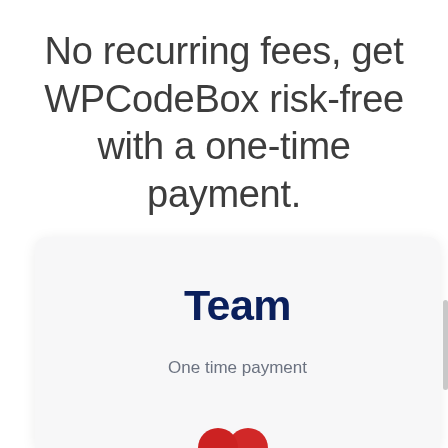No recurring fees, get WPCodeBox risk-free with a one-time payment.
Team
One time payment